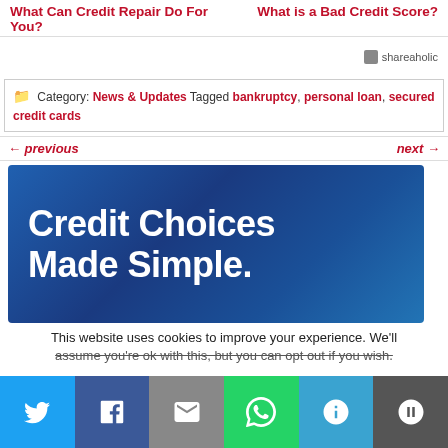What Can Credit Repair Do For You?    What is a Bad Credit Score?
shareaholic
Category: News & Updates Tagged bankruptcy, personal loan, secured credit cards
← previous    next →
[Figure (illustration): Banner image with blue gradient background and white bold text reading 'Credit Choices Made Simple.']
This website uses cookies to improve your experience. We'll assume you're ok with this, but you can opt out if you wish.
[Figure (infographic): Social share bar with buttons for Twitter, Facebook, Email, WhatsApp, SMS, and More]